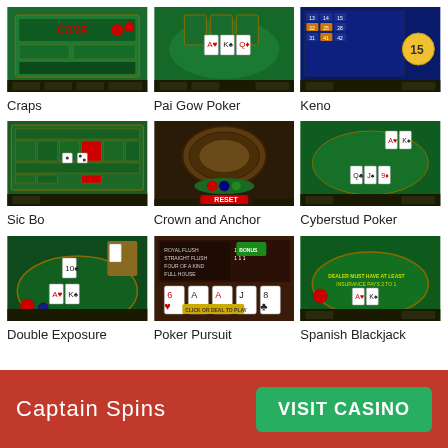[Figure (screenshot): Craps casino game screenshot showing green felt table with dice]
Craps
[Figure (screenshot): Pai Gow Poker casino game screenshot showing cards on green felt]
Pai Gow Poker
[Figure (screenshot): Keno casino game screenshot showing number grid on blue background]
Keno
[Figure (screenshot): Sic Bo casino game screenshot showing betting table]
Sic Bo
[Figure (screenshot): Crown and Anchor casino game screenshot showing wooden barrel wheel]
Crown and Anchor
[Figure (screenshot): Cyberstud Poker casino game screenshot showing green felt table with cards]
Cyberstud Poker
[Figure (screenshot): Double Exposure casino game screenshot showing blackjack table]
Double Exposure
[Figure (screenshot): Poker Pursuit casino game screenshot showing cards with hearts and spades]
Poker Pursuit
[Figure (screenshot): Spanish Blackjack casino game screenshot showing green felt table with cards]
Spanish Blackjack
Captain Spins
VISIT CASINO